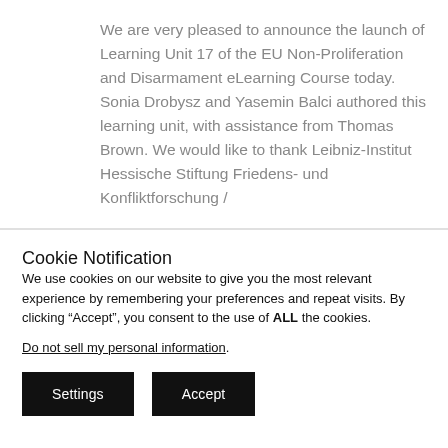We are very pleased to announce the launch of Learning Unit 17 of the EU Non-Proliferation and Disarmament eLearning Course today. Sonia Drobysz and Yasemin Balci authored this learning unit, with assistance from Thomas Brown. We would like to thank Leibniz-Institut Hessische Stiftung Friedens- und Konfliktforschung /
Cookie Notification
We use cookies on our website to give you the most relevant experience by remembering your preferences and repeat visits. By clicking “Accept”, you consent to the use of ALL the cookies.
Do not sell my personal information.